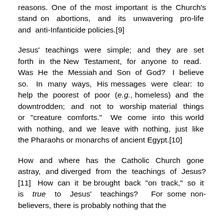reasons. One of the most important is the Church's stand on abortions, and its unwavering pro-life and anti-Infanticide policies.[9]
Jesus' teachings were simple; and they are set forth in the New Testament, for anyone to read. Was He the Messiah and Son of God? I believe so. In many ways, His messages were clear: to help the poorest of poor (e.g., homeless) and the downtrodden; and not to worship material things or "creature comforts." We come into this world with nothing, and we leave with nothing, just like the Pharaohs or monarchs of ancient Egypt.[10]
How and where has the Catholic Church gone astray, and diverged from the teachings of Jesus?[11] How can it be brought back "on track," so it is true to Jesus' teachings? For some non-believers, there is probably nothing that the